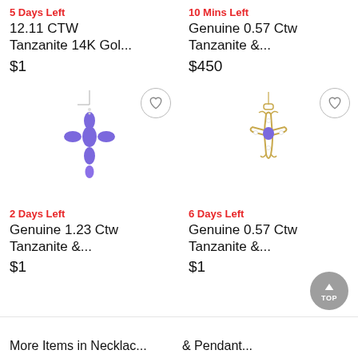5 Days Left
12.11 CTW Tanzanite 14K Gol...
$1
10 Mins Left
Genuine 0.57 Ctw Tanzanite &...
$450
[Figure (photo): Purple tanzanite cross pendant necklace on silver chain]
[Figure (photo): Gold cross pendant necklace with purple tanzanite center stone]
2 Days Left
Genuine 1.23 Ctw Tanzanite &...
$1
6 Days Left
Genuine 0.57 Ctw Tanzanite &...
$1
More Items in Necklace...
& Pendants...